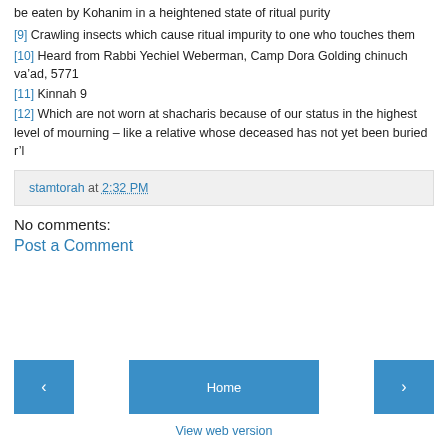be eaten by Kohanim in a heightened state of ritual purity
[9] Crawling insects which cause ritual impurity to one who touches them
[10] Heard from Rabbi Yechiel Weberman, Camp Dora Golding chinuch va’ad, 5771
[11] Kinnah 9
[12] Which are not worn at shacharis because of our status in the highest level of mourning – like a relative whose deceased has not yet been buried r’l
stamtorah at 2:32 PM
No comments:
Post a Comment
Home
View web version